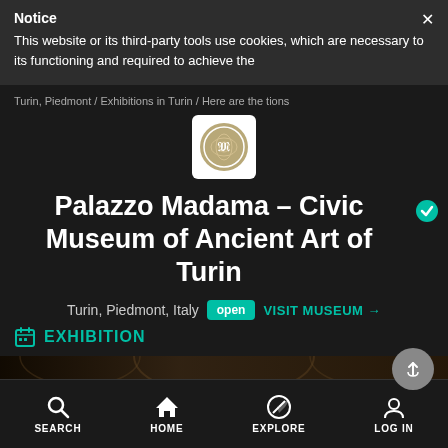Notice
This website or its third-party tools use cookies, which are necessary to its functioning and required to achieve the
Turin, Piedmont / Exhibitions in Turin / Here are the tions
[Figure (logo): Palazzo Madama museum circular logo on white background]
Palazzo Madama - Civic Museum of Ancient Art of Turin
Turin, Piedmont, Italy   open   VISIT MUSEUM →
EXHIBITION
[Figure (photo): Interior photo of museum with ornate ceiling]
SEARCH   HOME   EXPLORE   LOG IN